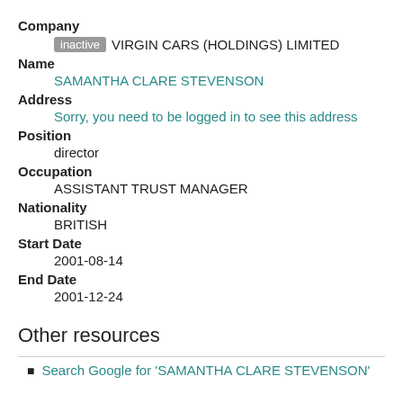Company
inactive VIRGIN CARS (HOLDINGS) LIMITED
Name
SAMANTHA CLARE STEVENSON
Address
Sorry, you need to be logged in to see this address
Position
director
Occupation
ASSISTANT TRUST MANAGER
Nationality
BRITISH
Start Date
2001-08-14
End Date
2001-12-24
Other resources
Search Google for 'SAMANTHA CLARE STEVENSON'